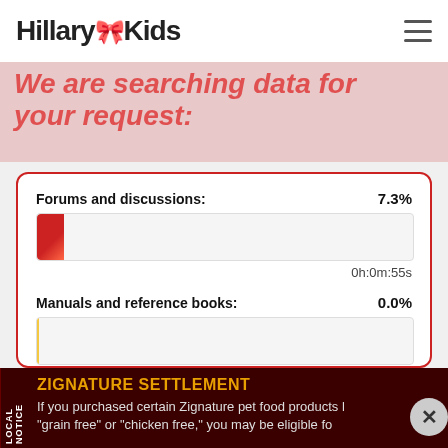Hillary Kids
We are searching data for your request:
Forums and discussions: 7.3% — 0h:0m:55s
Manuals and reference books: 0.0% — 0h:0m:10s
Data from registers: 6.8% — 0h:0m:55s
ZIGNATURE SETTLEMENT — LOCAL NOTICE — If you purchased certain Zignature pet food products labeled "grain free" or "chicken free," you may be eligible for...